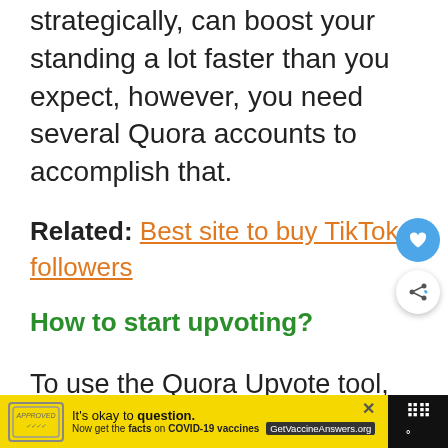strategically, can boost your standing a lot faster than you expect, however, you need several Quora accounts to accomplish that.
Related: Best site to buy TikTok followers
How to start upvoting?
To use the Quora Upvote tool, just go to the Tools tab and click the Upvo...
[Figure (other): Yellow advertisement banner for COVID-19 vaccine information with stamp graphic and GetVaccineAnswers.org link, with close button. Dark right panel with white dots icon.]